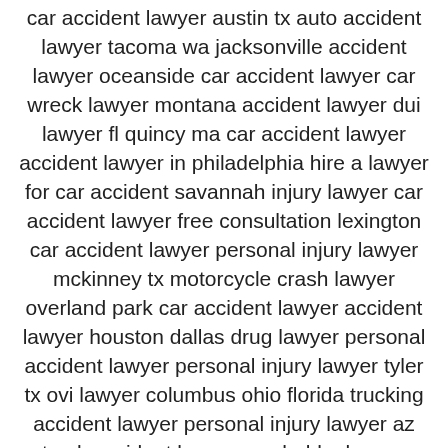car accident lawyer austin tx auto accident lawyer tacoma wa jacksonville accident lawyer oceanside car accident lawyer car wreck lawyer montana accident lawyer dui lawyer fl quincy ma car accident lawyer accident lawyer in philadelphia hire a lawyer for car accident savannah injury lawyer car accident lawyer free consultation lexington car accident lawyer personal injury lawyer mckinney tx motorcycle crash lawyer overland park car accident lawyer accident lawyer houston dallas drug lawyer personal accident lawyer personal injury lawyer tyler tx ovi lawyer columbus ohio florida trucking accident lawyer personal injury lawyer az truck accident lawyer nyc bobby lawyer rhode island car accident lawyer accident lawyer las vegas injury lawyer in san jose charlotte car accident lawyer bucks county personal injury lawyer huntsville car wreck lawyer nevada accident lawyer injury lawyer san jose ca workers comp lawyer columbia sc north carolina truck accident lawyer boise car accident lawyer texas 18 wheeler accident lawyer criminal lawyer fairfax va need a workers comp lawyer work injury lawyer illinois injury lawyer charleston sc car accident lawyer austin accident lawyer work injury lawyer michigan injury lawyer baton rouge personal injury lawyer ft lauderdale truck crash lawyer construction accident lawyer new